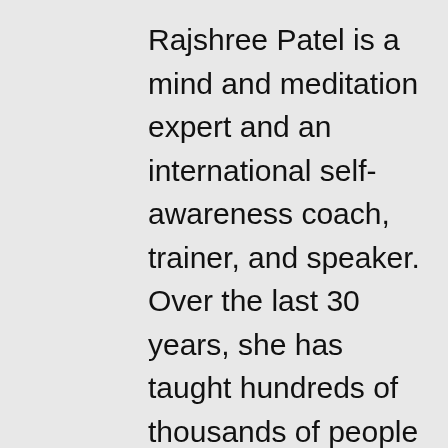Rajshree Patel is a mind and meditation expert and an international self-awareness coach, trainer, and speaker. Over the last 30 years, she has taught hundreds of thousands of people in more than 35 countries the power of meditation, mindfulness, breath work, and other ancient tools for assessing